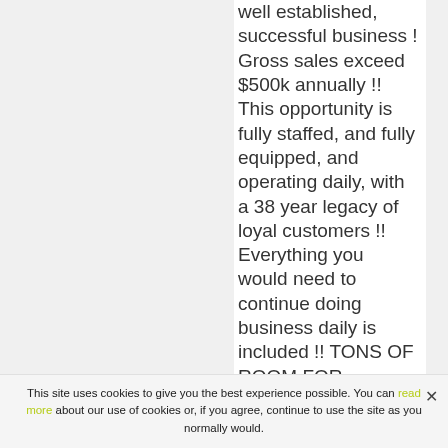well established, successful business ! Gross sales exceed $500k annually !! This opportunity is fully staffed, and fully equipped, and operating daily, with a 38 year legacy of loyal customers !! Everything you would need to continue doing business daily is included !! TONS OF ROOM FOR GROWTH !!! Inventory list and financials in hand !! ***Please do not
This site uses cookies to give you the best experience possible. You can read more about our use of cookies or, if you agree, continue to use the site as you normally would.